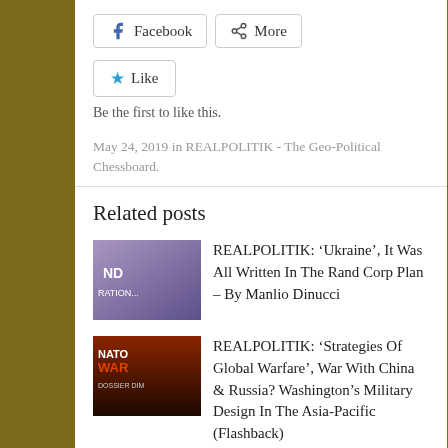[Figure (screenshot): Facebook button and More share button row]
[Figure (screenshot): Like button with star icon]
Be the first to like this.
May 24, 2019 in REALPOLITIK - The Geo-Political Chessboard.
Related posts
[Figure (photo): ND RATION book cover thumbnail - purple/blue tones]
REALPOLITIK: ‘Ukraine’, It Was All Written In The Rand Corp Plan – By Manlio Dinucci
[Figure (photo): NATO WAR book cover thumbnail - dark red tones]
REALPOLITIK: ‘Strategies Of Global Warfare’, War With China & Russia? Washington’s Military Design In The Asia-Pacific (Flashback)
[Figure (photo): Make Russia Great Again book cover thumbnail - red tones]
U.S.S.A: The Secret American Plan To Make Russia Great Again – By Dimitry